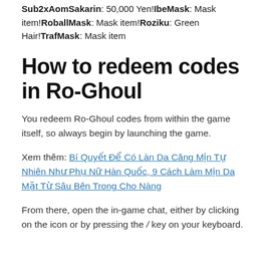Sub2xAomSakarin: 50,000 Yen!IbeMask: Mask item!RoballMask: Mask item!Roziku: Green Hair!TrafMask: Mask item
How to redeem codes in Ro-Ghoul
You redeem Ro-Ghoul codes from within the game itself, so always begin by launching the game.
Xem thêm: Bí Quyết Để Có Làn Da Căng Mịn Tự Nhiên Như Phụ Nữ Hàn Quốc, 9 Cách Làm Mịn Da Mặt Từ Sâu Bên Trong Cho Nàng
From there, open the in-game chat, either by clicking on the icon or by pressing the / key on your keyboard.